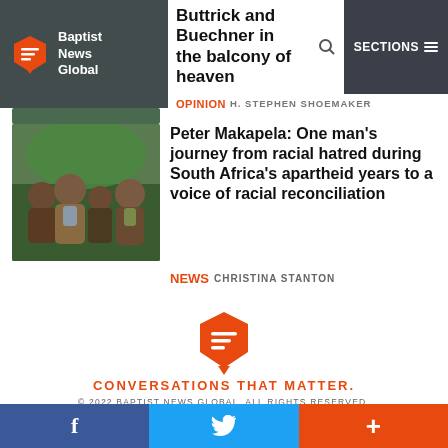Baptist News Global — Buttrick and Buechner in the balcony of heaven — OPINION H. STEPHEN SHOEMAKER — SECTIONS
[Figure (photo): Family photo: man, woman, and two children posing together outdoors]
Peter Makapela: One man's journey from racial hatred during South Africa's apartheid years to a voice of racial reconciliation
NEWS CHRISTINA STANTON
[Figure (logo): Baptist News Global orange speech bubble logo]
CONVERSATIONS THAT MATTER.
© 2022 BAPTIST NEWS GLOBAL. ALL RIGHTS RESERVED.
f  Twitter  +